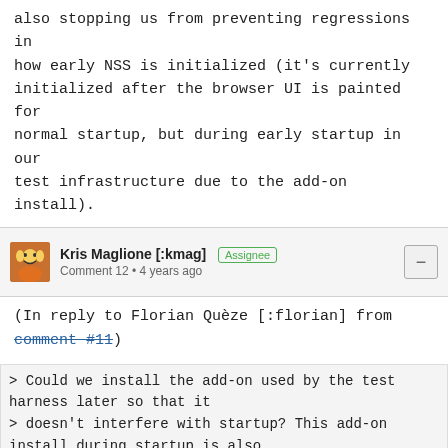also stopping us from preventing regressions in how early NSS is initialized (it's currently initialized after the browser UI is painted for normal startup, but during early startup in our test infrastructure due to the add-on install).
Kris Maglione [:kmag] Assignee
Comment 12 • 4 years ago
(In reply to Florian Quèze [:florian] from comment #11)
> Could we install the add-on used by the test harness later so that it
> doesn't interfere with startup? This add-on install during startup is also
> stopping us from preventing regressions in how early NSS is initialized
> (it's currently initialized after the browser UI is painted for normal
> startup, but during early startup in our
> test infrastructure due to the